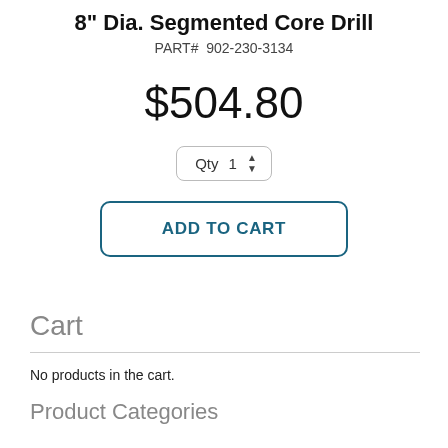8" Dia. Segmented Core Drill
PART#  902-230-3134
$504.80
Qty  1
ADD TO CART
Cart
No products in the cart.
Product Categories